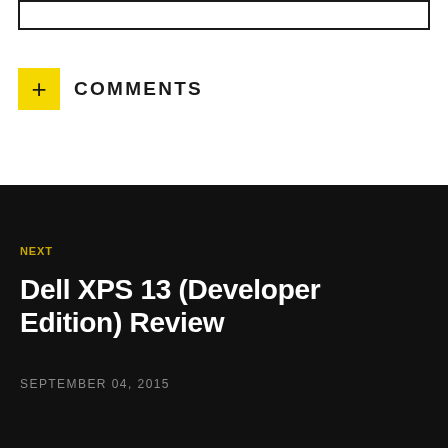+ COMMENTS
NEXT
Dell XPS 13 (Developer Edition) Review
SEPTEMBER 04, 2015